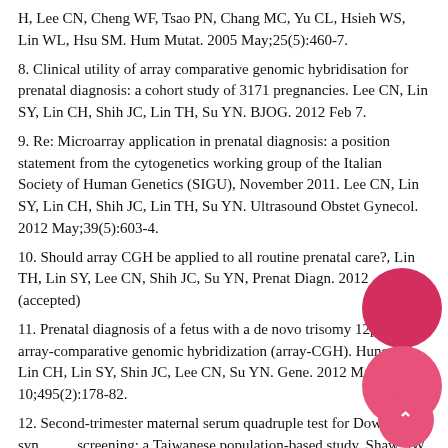H, Lee CN, Cheng WF, Tsao PN, Chang MC, Yu CL, Hsieh WS, Lin WL, Hsu SM. Hum Mutat. 2005 May;25(5):460-7.
8. Clinical utility of array comparative genomic hybridisation for prenatal diagnosis: a cohort study of 3171 pregnancies. Lee CN, Lin SY, Lin CH, Shih JC, Lin TH, Su YN. BJOG. 2012 Feb 7.
9. Re: Microarray application in prenatal diagnosis: a position statement from the cytogenetics working group of the Italian Society of Human Genetics (SIGU), November 2011. Lee CN, Lin SY, Lin CH, Shih JC, Lin TH, Su YN. Ultrasound Obstet Gynecol. 2012 May;39(5):603-4.
10. Should array CGH be applied to all routine prenatal care?, Lin TH, Lin SY, Lee CN, Shih JC, Su YN, Prenat Diagn. 2012 (accepted)
11. Prenatal diagnosis of a fetus with a de novo trisomy 12p by array-comparative genomic hybridization (array-CGH). Hung CC, Lin CH, Lin SY, Shin JC, Lee CN, Su YN. Gene. 2012 Mar 10;495(2):178-82.
12. Second-trimester maternal serum quadruple test for Down syndrome screening: a Taiwanese population-based study. Shaw SW, Lin SY, Lin CH, Su YN, Cheng PJ, Lee CN, Chen CP. Taiwan J Obstet Gynecol. 2010 Mar;49(1):30-4.
13. An update of preimplantation genetic diagnosis in gene diseases, chromosomal translocation, and aneuploidy screening. Chang LJ, Chen SU, Tsai YY, Hung CC, Fang MY, Su YN, Yang YS. Clin Exp Reprod Med. 2011 Sep;38(3):126-34.